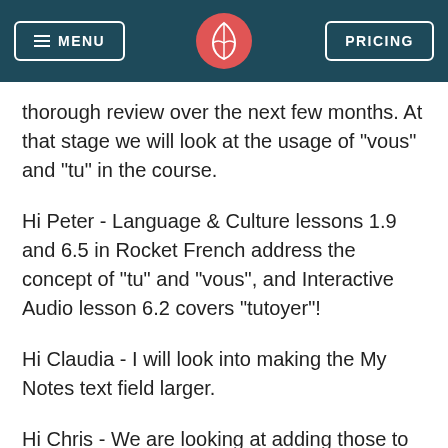MENU | [logo] | PRICING
thorough review over the next few months. At that stage we will look at the usage of "vous" and "tu" in the course.
Hi Peter - Language & Culture lessons 1.9 and 6.5 in Rocket French address the concept of "tu" and "vous", and Interactive Audio lesson 6.2 covers "tutoyer"!
Hi Claudia - I will look into making the My Notes text field larger.
Hi Chris - We are looking at adding those to the apps but it won't be for another 6-9